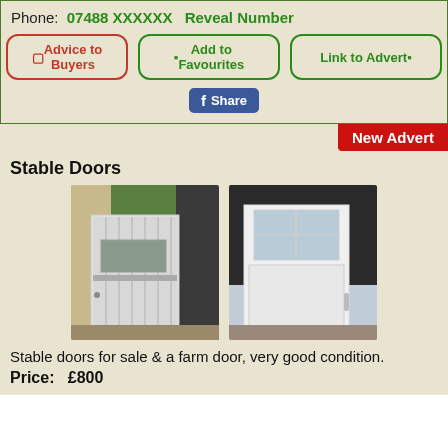Phone:  07488 XXXXXX   Reveal Number
Advice to Buyers
Add to Favourites
Link to Advert
Share
New Advert
Stable Doors
[Figure (photo): Two white stable/farm doors photographed outdoors. Left door is a vertical plank stable door with a small square window panel and metal hardware. Right image shows a white panelled door with a four-pane window, leaning against a dark building.]
Stable doors for sale & a farm door, very good condition.
Price:   £800